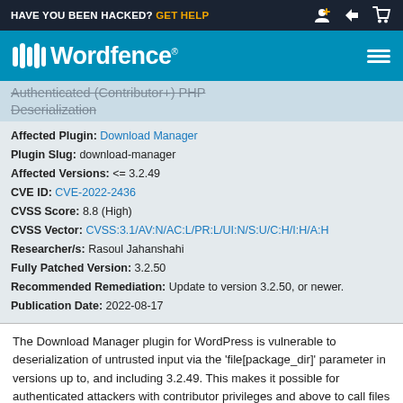HAVE YOU BEEN HACKED? GET HELP
[Figure (logo): Wordfence logo with navigation bar]
Authenticated (Contributor+) PHP Deserialization
Affected Plugin: Download Manager
Plugin Slug: download-manager
Affected Versions: <= 3.2.49
CVE ID: CVE-2022-2436
CVSS Score: 8.8 (High)
CVSS Vector: CVSS:3.1/AV:N/AC:L/PR:L/UI:N/S:U/C:H/I:H/A:H
Researcher/s: Rasoul Jahanshahi
Fully Patched Version: 3.2.50
Recommended Remediation: Update to version 3.2.50, or newer.
Publication Date: 2022-08-17
The Download Manager plugin for WordPress is vulnerable to deserialization of untrusted input via the 'file[package_dir]' parameter in versions up to, and including 3.2.49. This makes it possible for authenticated attackers with contributor privileges and above to call files using a PHAR wrapper that will deserialize the data and call arbitrary PHP Objects that can be used to perform...